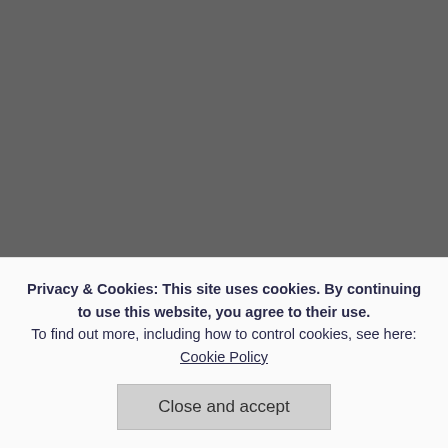[Figure (screenshot): Screenshot of a webpage showing a dark photo on the left, comment section on the right with reply buttons, usernames, and a cookie consent banner overlay at the bottom.]
spoofs th
Like
Reply
John
April
Tha
Reply
Privacy & Cookies: This site uses cookies. By continuing to use this website, you agree to their use.
To find out more, including how to control cookies, see here: Cookie Policy
Close and accept